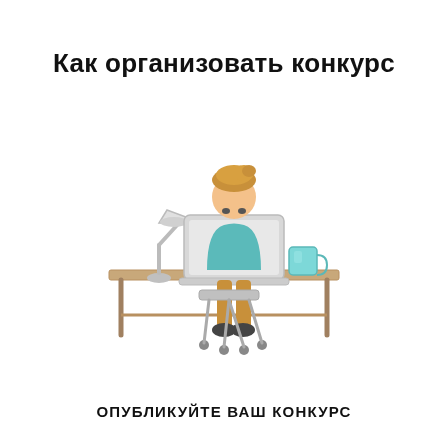Как организовать конкурс
[Figure (illustration): Flat style illustration of a person sitting at a desk, looking at a laptop. A desk lamp is on the left side of the desk. A cup/mug is on the right side. The person has brown hair and is wearing a teal shirt. Their legs in brown trousers are visible below the desk with a chair on wheels.]
ОПУБЛИКУЙТЕ ВАШ КОНКУРС